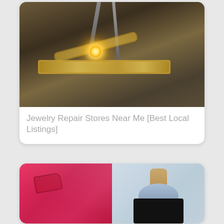[Figure (photo): A jeweler using a torch to solder or repair a gold chain on a dark metal workbench surface. Bright yellow sparks are visible at the point of contact.]
Jewelry Repair Stores Near Me [Best Local Listings]
[Figure (photo): Two images side by side: left shows a folded red/pink polo shirt on a gray surface; right shows a light blue peter pan collar worn over a black top on a mannequin with a wooden neck.]